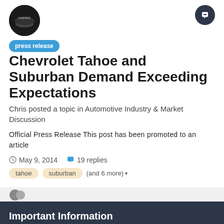[Figure (logo): Circular avatar with dark background and 'VORTEC' text, representing a forum user avatar]
Chevrolet Tahoe and Suburban Demand Exceeding Expectations
Chris posted a topic in Automotive Industry & Market Discussion
Official Press Release This post has been promoted to an article
May 9, 2014   19 replies
tahoe   suburban   (and 6 more)
Important Information
By using this site, you agree to our Terms of Use.